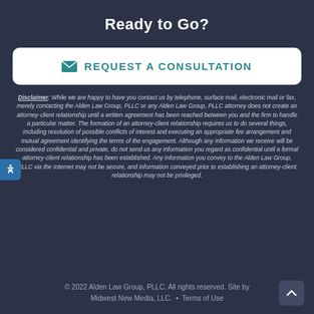Ready to Go?
✉ REQUEST A CONSULTATION
Disclaimer: While we are happy to have you contact us by telephone, surface mail, electronic mail or fax, merely contacting the Alden Law Group, PLLC or any Alden Law Group, PLLC attorney does not create an attorney-client relationship until a written agreement has been reached between you and the firm to handle a particular matter. The formation of an attorney-client relationship requires us to do several things, including resolution of possible conflicts of interest and executing an appropriate fee arrangement and mutual agreement identifying the terms of the engagement. Although any information we receive will be considered confidential and private, do not send us any information you regard as confidential until a formal attorney-client relationship has been established. Any information you convey to the Alden Law Group, PLLC via the Internet may not be secure, and information conveyed prior to establishing an attorney-client relationship may not be privileged.
© 2022 Alden Law Group, PLLC. All rights reserved. Site by Midwest New Media, LLC. • Terms of Use